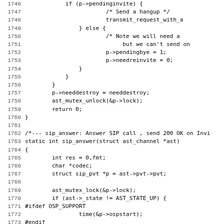Source code listing lines 1746-1778, showing C code for sip_answer function in an Asterisk SIP implementation.